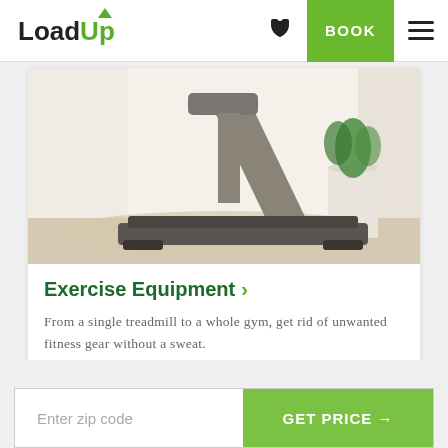LoadUp — BOOK
[Figure (photo): A treadmill exercise machine placed on a rug in a bright white room with white curtains and a green plant in a white pot]
Exercise Equipment ›
From a single treadmill to a whole gym, get rid of unwanted fitness gear without a sweat.
Enter zip code — GET PRICE →